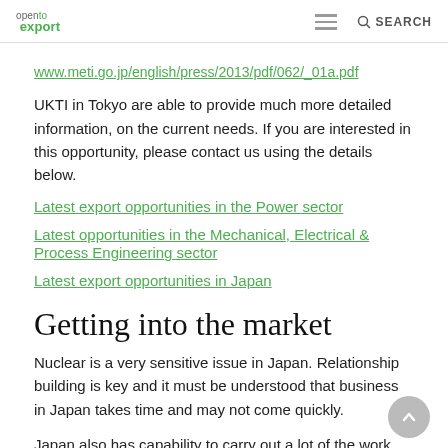open to export | SEARCH
www.meti.go.jp/english/press/2013/pdf/062/_01a.pdf
UKTI in Tokyo are able to provide much more detailed information, on the current needs. If you are interested in this opportunity, please contact us using the details below.
Latest export opportunities in the Power sector
Latest opportunities in the Mechanical, Electrical & Process Engineering sector
Latest export opportunities in Japan
Getting into the market
Nuclear is a very sensitive issue in Japan. Relationship building is key and it must be understood that business in Japan takes time and may not come quickly.
Japan also has capability to carry out a lot of the work internally, and